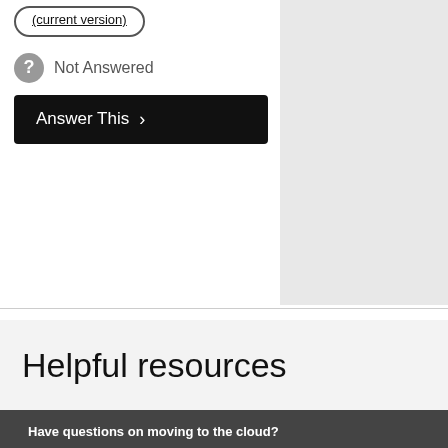(current version)
Not Answered
Answer This >
[Figure (screenshot): Navigation pagination controls with left arrow, right arrow, and skip-to-end arrow buttons]
Helpful resources
Have questions on moving to the cloud?
Visit the Dynamics 365 Migration Community today! Microsoft's extensive network of Dynamics AX and Dynamics CRM experts can help.